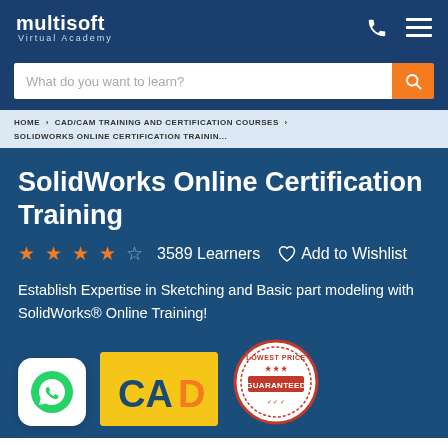multisoft Virtual Academy
What do you want to learn?
HOME › CAD/CAM TRAINING AND CERTIFICATION COURSES › SOLIDWORKS ONLINE CERTIFICATION TRAININ...
SolidWorks Online Certification Training
★★★★☆  3589 Learners   ♡ Add to Wishlist
Establish Expertise in Sketching and Basic part modeling with SolidWorks® Online Training!
[Figure (logo): WhatsApp chat icon badge]
[Figure (photo): CAD course thumbnail with yellow background]
[Figure (infographic): Lowest Price Guarantee circular badge in red and white]